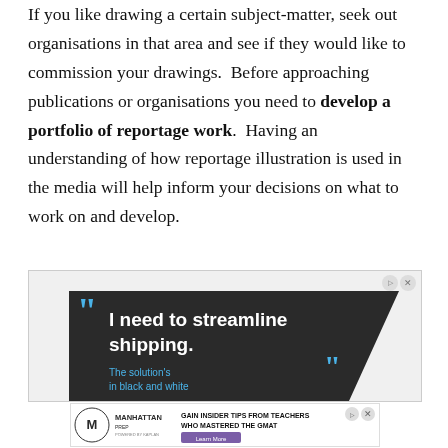If you like drawing a certain subject-matter, seek out organisations in that area and see if they would like to commission your drawings.  Before approaching publications or organisations you need to develop a portfolio of reportage work.  Having an understanding of how reportage illustration is used in the media will help inform your decisions on what to work on and develop.
[Figure (screenshot): Advertisement banner with dark diagonal background showing quote 'I need to streamline shipping.' in white text, with blue closing quotation marks and cyan text 'The solution's in black and white' below. Ad control icons (privacy/close) in top right.]
[Figure (screenshot): Manhattan Prep advertisement banner: logo on left, text 'GAIN INSIDER TIPS FROM TEACHERS WHO MASTERED THE GMAT', purple 'Learn More' button, ad control icons top right.]